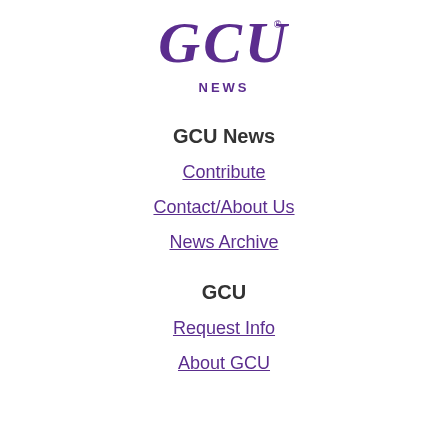[Figure (logo): GCU News logo — stylized bold italic 'GCU' in purple with 'NEWS' in smaller purple caps beneath]
GCU News
Contribute
Contact/About Us
News Archive
GCU
Request Info
About GCU